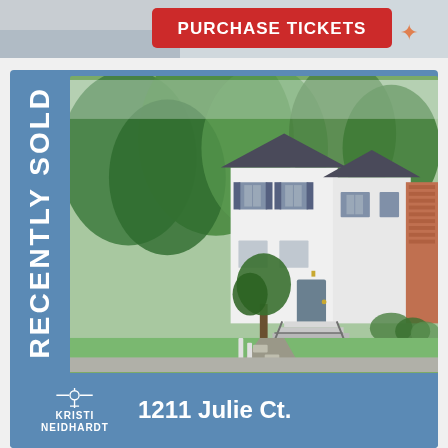[Figure (other): Red button with text PURCHASE TICKETS at the top of the page]
[Figure (photo): Recently sold real estate listing card with blue background. Shows a white townhouse/end-unit home with green trees and landscaping. Text says RECENTLY SOLD vertically on the left. Bottom shows Kristi Neidhardt logo and property address 1211 Julie Ct.]